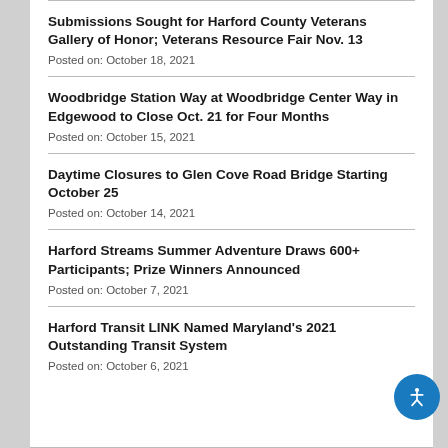Submissions Sought for Harford County Veterans Gallery of Honor; Veterans Resource Fair Nov. 13
Posted on: October 18, 2021
Woodbridge Station Way at Woodbridge Center Way in Edgewood to Close Oct. 21 for Four Months
Posted on: October 15, 2021
Daytime Closures to Glen Cove Road Bridge Starting October 25
Posted on: October 14, 2021
Harford Streams Summer Adventure Draws 600+ Participants; Prize Winners Announced
Posted on: October 7, 2021
Harford Transit LINK Named Maryland's 2021 Outstanding Transit System
Posted on: October 6, 2021
[Figure (illustration): Accessibility icon button — blue circle with white wheelchair/person symbol]